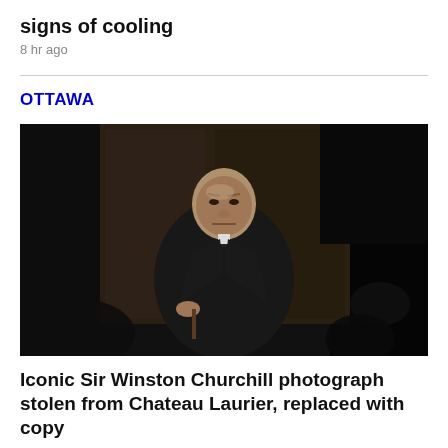signs of cooling
8 hr ago
OTTAWA
[Figure (photo): Black and white photograph of Sir Winston Churchill seated, wearing a dark suit and bow tie, with a stern expression, in a dimly lit formal room.]
Iconic Sir Winston Churchill photograph stolen from Chateau Laurier, replaced with copy